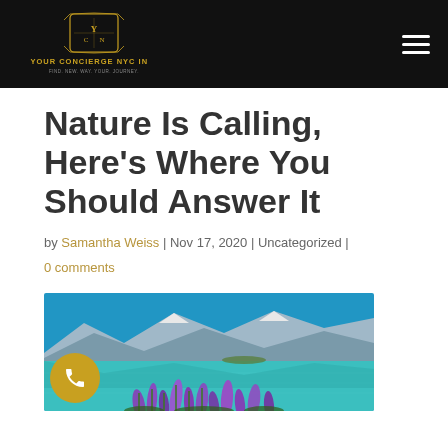Your Concierge NYC Inc. — navigation header
Nature Is Calling, Here's Where You Should Answer It
by Samantha Weiss | Nov 17, 2020 | Uncategorized |
0 comments
[Figure (photo): Scenic photo of turquoise lake with mountains and purple lupine wildflowers in the foreground under a bright blue sky]